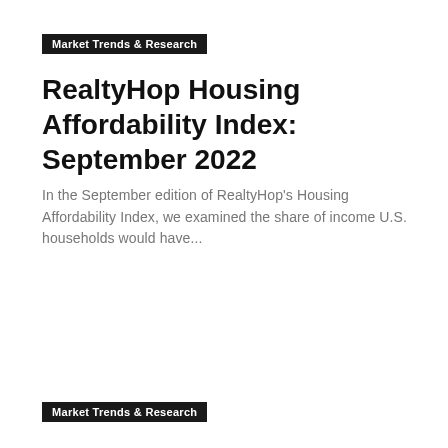Market Trends & Research
RealtyHop Housing Affordability Index: September 2022
In the September edition of RealtyHop's Housing Affordability Index, we examined the share of income U.S. households would have...
Market Trends & Research